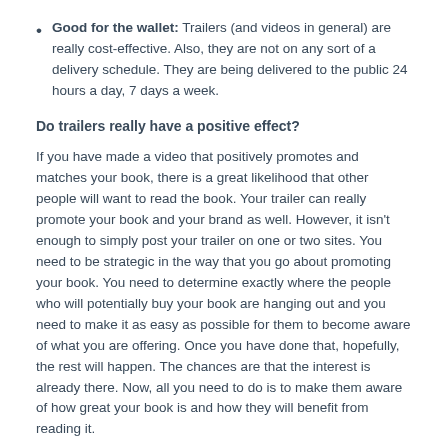Good for the wallet: Trailers (and videos in general) are really cost-effective. Also, they are not on any sort of a delivery schedule. They are being delivered to the public 24 hours a day, 7 days a week.
Do trailers really have a positive effect?
If you have made a video that positively promotes and matches your book, there is a great likelihood that other people will want to read the book. Your trailer can really promote your book and your brand as well. However, it isn't enough to simply post your trailer on one or two sites. You need to be strategic in the way that you go about promoting your book. You need to determine exactly where the people who will potentially buy your book are hanging out and you need to make it as easy as possible for them to become aware of what you are offering. Once you have done that, hopefully, the rest will happen. The chances are that the interest is already there. Now, all you need to do is to make them aware of how great your book is and how they will benefit from reading it.
Good versus bad